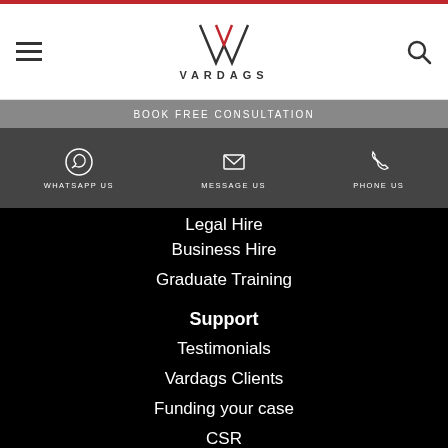[Figure (logo): Vardags law firm logo with stylized VM monogram and text VARDAGS]
BOOK FREE CONSULTATION
[Figure (infographic): Contact options bar with WhatsApp Us, Message Us, and Phone Us icons]
Legal Hire
Business Hire
Graduate Training
Support
Testimonials
Vardags Clients
Funding your case
CSR
Agency Policy
Complaints